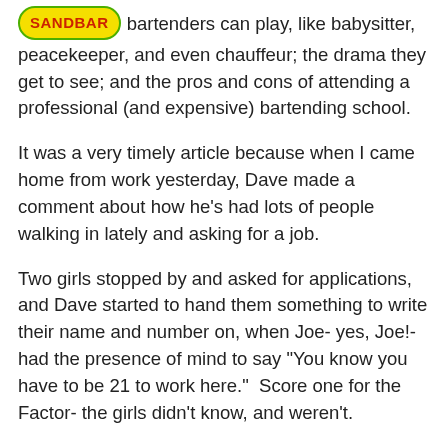[SANDBAR logo] bartenders can play, like babysitter, peacekeeper, and even chauffeur; the drama they get to see; and the pros and cons of attending a professional (and expensive) bartending school.
It was a very timely article because when I came home from work yesterday, Dave made a comment about how he's had lots of people walking in lately and asking for a job.
Two girls stopped by and asked for applications, and Dave started to hand them something to write their name and number on, when Joe- yes, Joe!- had the presence of mind to say "You know you have to be 21 to work here."  Score one for the Factor- the girls didn't know, and weren't.
The article mentions how most bartenders in town have worked their way up from other less glamorous